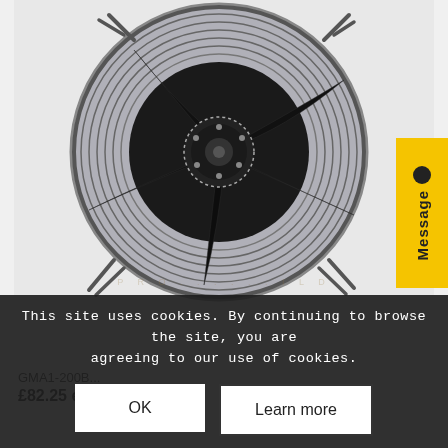[Figure (photo): Black industrial axial fan with metal wire guard, viewed from the front, showing five blades and central hub. Watermark text partially visible at bottom.]
This site uses cookies. By continuing to browse the site, you are agreeing to our use of cookies.
OK
Learn more
GMA1-200B...
£82.25 ex VA...